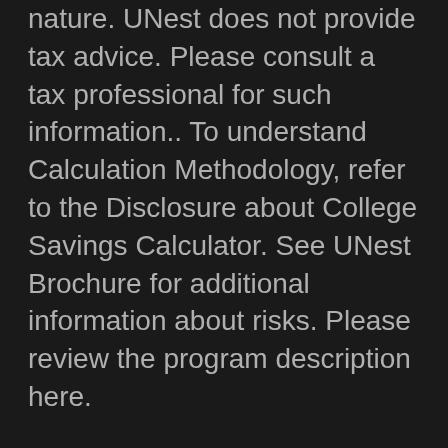nature. UNest does not provide tax advice. Please consult a tax professional for such information.. To understand Calculation Methodology, refer to the Disclosure about College Savings Calculator. See UNest Brochure for additional information about risks. Please review the program description here.
The savings calculation is based on the following assumptions: 1) A contribution of $250 every month to the investment account for 18 years. 2) A hypothetical annual investment return of 8%. 3) Dividends are reinvested and no withdrawals are made from the account. A word about fees: The traditional advisor charges a 1% annual advisory fee and the investment fund has a 1.5% annual fee (source: SmartAsset.com). UNest charges a $2.99 monthly advisory fee and other operational fees as